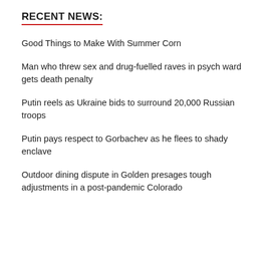RECENT NEWS:
Good Things to Make With Summer Corn
Man who threw sex and drug-fuelled raves in psych ward gets death penalty
Putin reels as Ukraine bids to surround 20,000 Russian troops
Putin pays respect to Gorbachev as he flees to shady enclave
Outdoor dining dispute in Golden presages tough adjustments in a post-pandemic Colorado